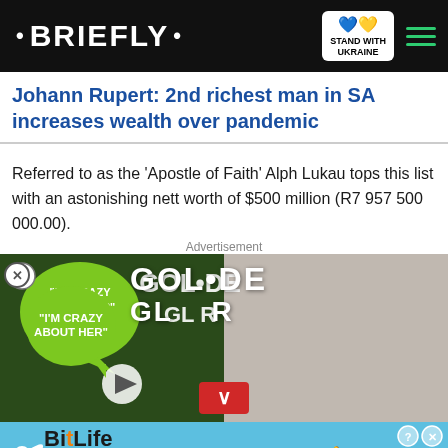• BRIEFLY •
Johann Rupert: 2nd richest man in SA increases wealth over pandemic
Referred to as the 'Apostle of Faith' Alph Lukau tops this list with an astonishing nett worth of $500 million (R7 957 500 000.00).
Advertisement
[Figure (photo): Advertisement showing a split image: left side shows couple at Golden Globes event with green dress and talk bubble saying 'I'M CRAZY ABOUT HER', right side shows woman in white outfit. Below is a BitLife mobile game banner with 'NOW WITH GOD MODE' text.]